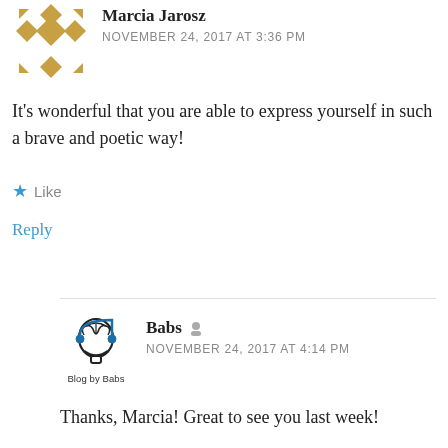[Figure (illustration): Gold/tan geometric avatar icon for Marcia Jarosz]
Marcia Jarosz
NOVEMBER 24, 2017 AT 3:36 PM
It’s wonderful that you are able to express yourself in such a brave and poetic way!
★ Like
Reply
[Figure (logo): Blog by Babs logo: head with brain/headphones icon]
Babs
NOVEMBER 24, 2017 AT 4:14 PM
Thanks, Marcia! Great to see you last week!
★ Like